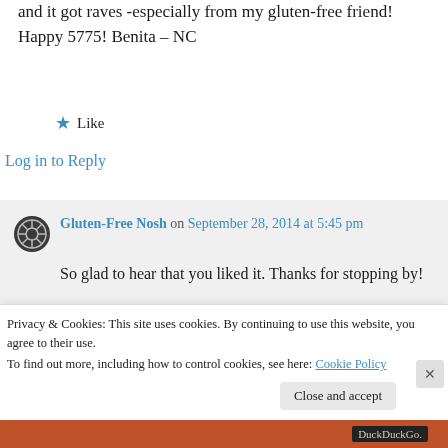and it got raves -especially from my gluten-free friend! Happy 5775! Benita – NC
★ Like
Log in to Reply
Gluten-Free Nosh on September 28, 2014 at 5:45 pm
So glad to hear that you liked it. Thanks for stopping by!
Privacy & Cookies: This site uses cookies. By continuing to use this website, you agree to their use.
To find out more, including how to control cookies, see here: Cookie Policy
Close and accept